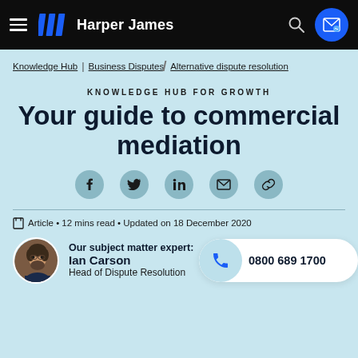Harper James
Knowledge Hub | Business Disputes | Alternative dispute resolution
KNOWLEDGE HUB FOR GROWTH
Your guide to commercial mediation
Article • 12 mins read • Updated on 18 December 2020
Our subject matter expert: Ian Carson
Head of Dispute Resolution
0800 689 1700